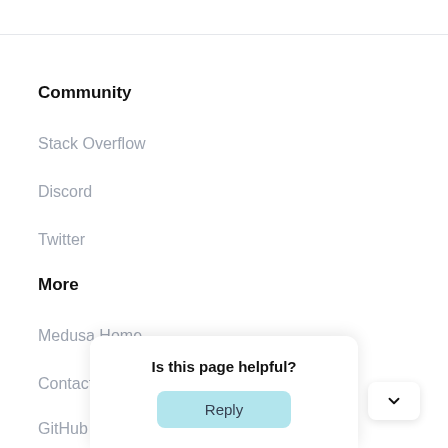Community
Stack Overflow
Discord
Twitter
More
Medusa Home
Contact
GitHub
Is this page helpful?
Reply